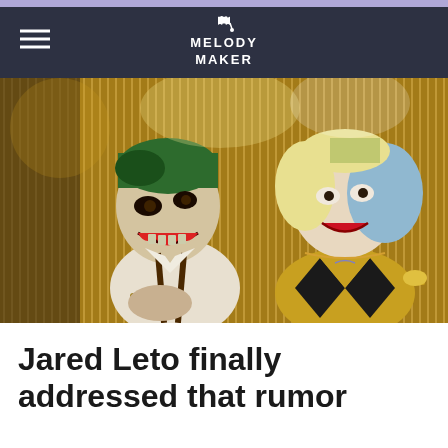MELODY MAKER
[Figure (photo): Two actors in costume as the Joker and Harley Quinn from Suicide Squad. The Joker (male, green hair, facepaint, white shirt, suspenders) laughs while Harley Quinn (female, blonde and blue hair, gold and black outfit) smiles behind him, set against a glittering backdrop.]
Jared Leto finally addressed that rumor